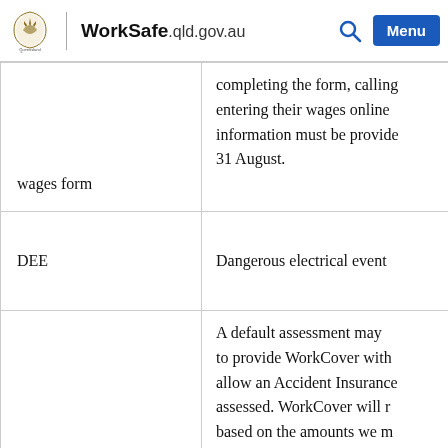WorkSafe.qld.gov.au
| Term | Definition |
| --- | --- |
| wages form | completing the form, calling entering their wages online information must be provide 31 August. |
| DEE | Dangerous electrical event |
| Default assessment | A default assessment may to provide WorkCover with allow an Accident Insurance assessed. WorkCover will r based on the amounts we m An employer may object to to WorkCover within 15 bu |